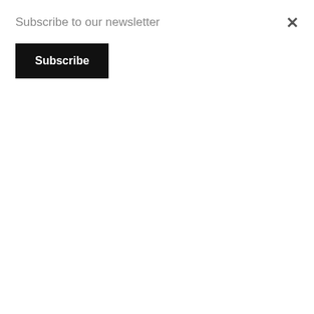Subscribe to our newsletter
Subscribe
basis,” said National Agriculture Centre’s Olive Development Programme Director Dr Muhammad Tariq.
Talking to APP on Wednesday, he said that promotion and development of olive on a large-scale commercial basis would not only help reduce the country’s reliance on imported oil to fulfill its domestic requirements, but would also provide super hygienic edible oil to local consumers.
Besides, he said that the development of olive would help save the precious national foreign exchange reserves worth over $3.7 billion, which was being used on the